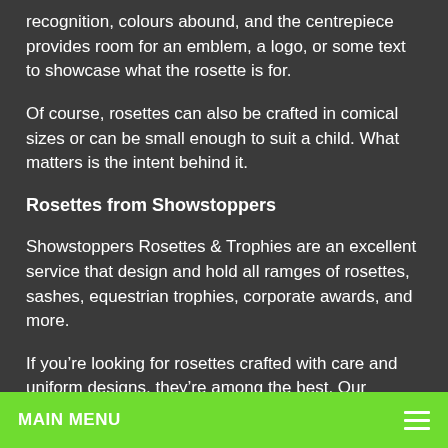recognition, colours abound, and the centrepiece provides room for an emblem, a logo, or some text to showcase what the rosette is for.
Of course, rosettes can also be crafted in comical sizes or can be small enough to suit a child. What matters is the intent behind it.
Rosettes from Showstoppers
Showstoppers Rosettes & Trophies are an excellent service that design and hold all ramges of rosettes, sashes, equestrian trophies, corporate awards, and more.
If you're looking for rosettes crafted with care and uniform designs, they're among the best. Our
MAIN MENU